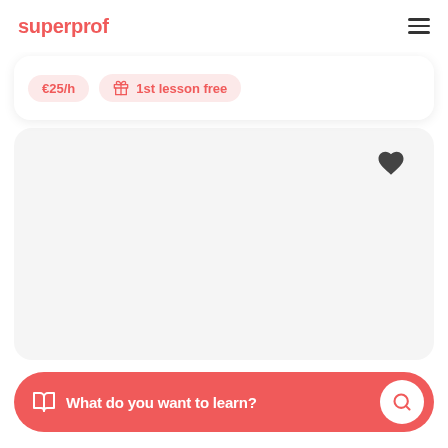superprof
€25/h
1st lesson free
[Figure (illustration): Large white/light gray card area representing a tutor profile image placeholder with a heart/favorite icon in the top right corner]
What do you want to learn?